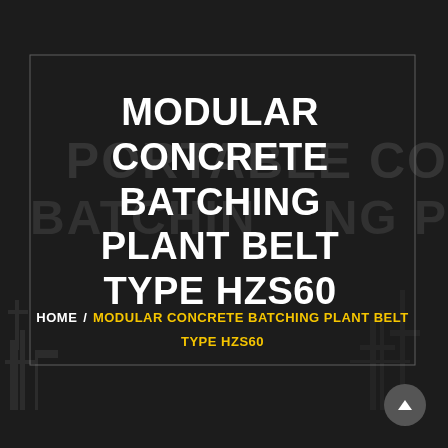[Figure (photo): Dark background with faint watermark text 'PORTABLE CONCRETE BATCHING P' and silhouette of construction/batching plant equipment. A bordered rectangular overlay contains the page title and breadcrumb navigation.]
MODULAR CONCRETE BATCHING PLANT BELT TYPE HZS60
HOME / MODULAR CONCRETE BATCHING PLANT BELT TYPE HZS60